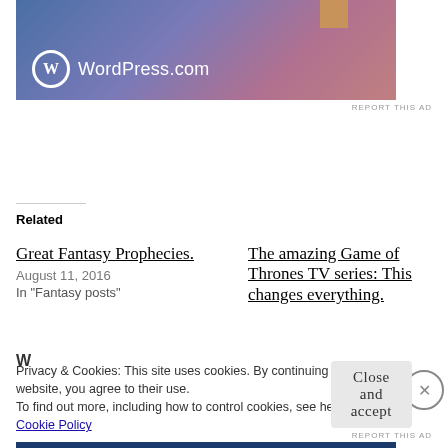[Figure (screenshot): WordPress.com advertisement banner with gradient blue-purple-pink background, WordPress logo (circle W) and WordPress.com text, with a tan/brown tab at top]
REPORT THIS AD
Related
Great Fantasy Prophecies.
August 11, 2016
In "Fantasy posts"
The amazing Game of Thrones TV series: This changes everything.
Privacy & Cookies: This site uses cookies. By continuing to use this website, you agree to their use.
To find out more, including how to control cookies, see here:
Cookie Policy
Close and accept